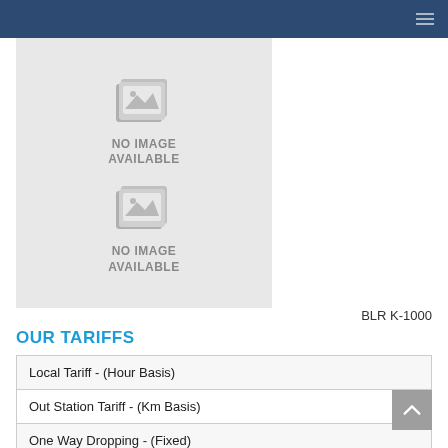[Figure (photo): Two 'No Image Available' placeholder images stacked vertically on a light gray background]
BLR K-1000
OUR TARIFFS
| Local Tariff - (Hour Basis) |
| Out Station Tariff - (Km Basis) |
| One Way Dropping - (Fixed) |
| One Way Dropping - (Km Basis) |